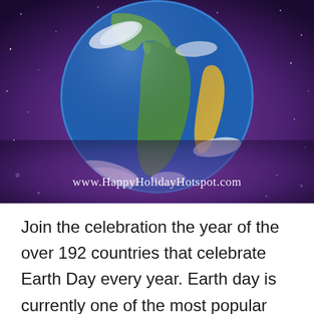[Figure (photo): A photograph of Earth from space showing South America and parts of North America, with clouds and blue oceans visible against a dark purple/space background with stars. Overlaid text reads: www.HappyHolidayHotspot.com]
Join the celebration the year of the over 192 countries that celebrate Earth Day every year. Earth day is currently one of the most popular and